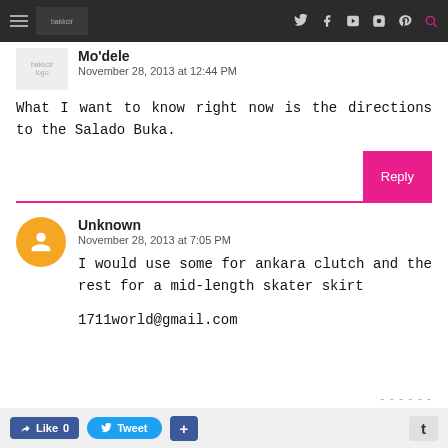Mo'dele — social media navigation bar
Mo'dele
November 28, 2013 at 12:44 PM
What I want to know right now is the directions to the Salado Buka.
Unknown
November 28, 2013 at 7:05 PM
I would use some for ankara clutch and the rest for a mid-length skater skirt
1711world@gmail.com
Like 0   Tweet   +   t